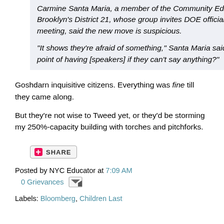Carmine Santa Maria, a member of the Community Education Council in Brooklyn's District 21, whose group invites DOE officials to nearly every meeting, said the new move is suspicious.
"It shows they're afraid of something," Santa Maria said. "What's the point of having [speakers] if they can't say anything?"
Goshdarn inquisitive citizens. Everything was fine till they came along.
But they're not wise to Tweed yet, or they'd be storming my 250%-capacity building with torches and pitchforks.
[Figure (other): Share button with red plus icon and SHARE label]
Posted by NYC Educator at 7:09 AM
0 Grievances
Labels: Bloomberg, Children Last